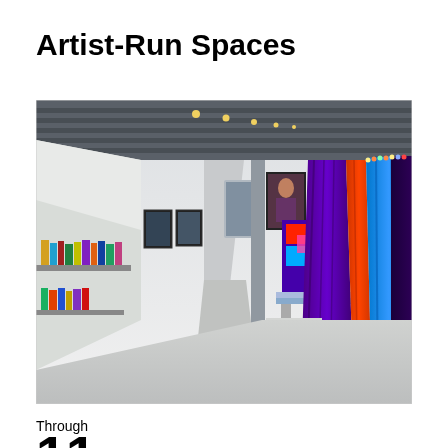Artist-Run Spaces
[Figure (photo): Interior view of a large gallery space with white walls and a dark industrial ceiling with track lighting. On the left wall are framed artworks and a shelf with books. In the center background is a large photographic portrait on the wall. To the right are colorful draped fabrics in purple, orange, and blue forming a tent-like installation, with a white pedestal in the foreground. The floor is light gray polished concrete.]
Through
11